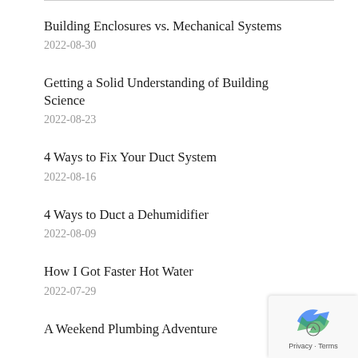Building Enclosures vs. Mechanical Systems
2022-08-30
Getting a Solid Understanding of Building Science
2022-08-23
4 Ways to Fix Your Duct System
2022-08-16
4 Ways to Duct a Dehumidifier
2022-08-09
How I Got Faster Hot Water
2022-07-29
A Weekend Plumbing Adventure